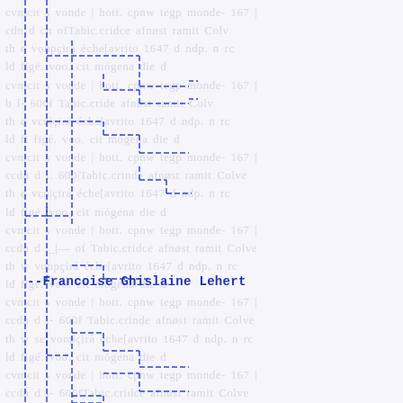[Figure (other): Genealogical tree diagram with dashed blue lines forming nested rectangular bracket structures, overlaid on faint watermark handwritten-style text background. A signature line reads '--Francoise Ghislaine Lehert' in bold blue monospace text.]
--Francoise Ghislaine Lehert